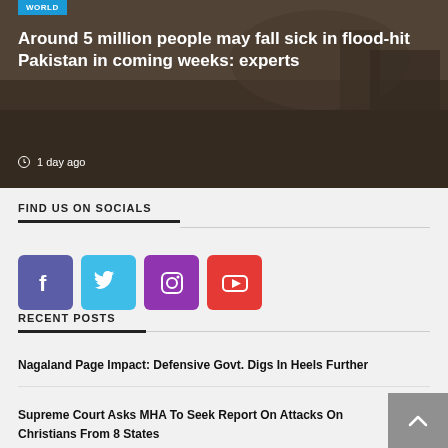[Figure (photo): Flood scene in Pakistan, muddy water with debris, hero image with overlay text]
Around 5 million people may fall sick in flood-hit Pakistan in coming weeks: experts
1 day ago
FIND US ON SOCIALS
[Figure (infographic): Social media icons: Facebook (purple), Twitter (blue), Instagram (purple/violet), YouTube (red)]
RECENT POSTS
Nagaland Page Impact: Defensive Govt. Digs In Heels Further
Supreme Court Asks MHA To Seek Report On Attacks On Christians From 8 States